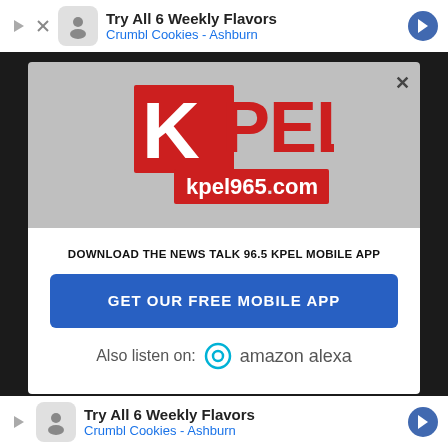[Figure (screenshot): Top advertisement banner for Crumbl Cookies - Ashburn showing 'Try All 6 Weekly Flavors']
[Figure (logo): KPEL radio station logo with red K graphic and kpel965.com URL]
DOWNLOAD THE NEWS TALK 96.5 KPEL MOBILE APP
[Figure (other): Blue button - GET OUR FREE MOBILE APP]
Also listen on: amazon alexa
[Figure (screenshot): Bottom advertisement banner for Crumbl Cookies - Ashburn showing 'Try All 6 Weekly Flavors']